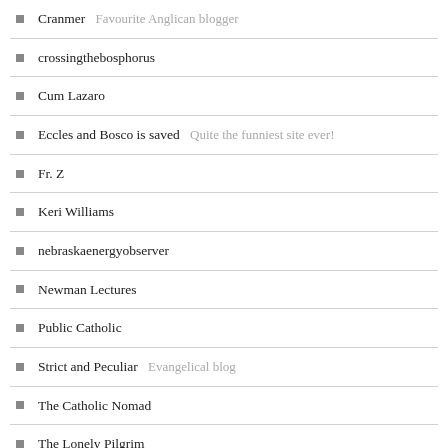Cranmer Favourite Anglican blogger
crossingthebosphorus
Cum Lazaro
Eccles and Bosco is saved Quite the funniest site ever!
Fr. Z
Keri Williams
nebraskaenergyobserver
Newman Lectures
Public Catholic
Strict and Peculiar Evangelical blog
The Catholic Nomad
The Lonely Pilgrim
The Theology of Laundry
FOLLOW BLOG VIA EMAIL
Enter your email address to follow this blog and receive notifications of new posts by